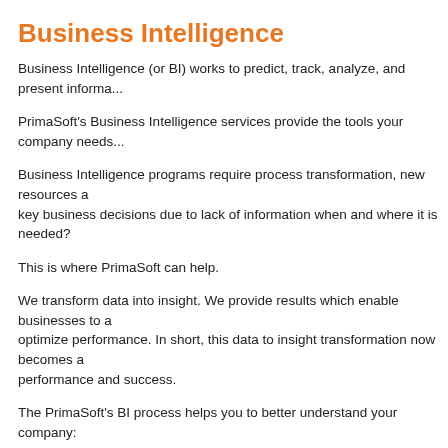Business Intelligence
Business Intelligence (or BI) works to predict, track, analyze, and present informa...
PrimaSoft's Business Intelligence services provide the tools your company needs...
Business Intelligence programs require process transformation, new resources a... key business decisions due to lack of information when and where it is needed?
This is where PrimaSoft can help.
We transform data into insight. We provide results which enable businesses to a... optimize performance. In short, this data to insight transformation now becomes a... performance and success.
The PrimaSoft's BI process helps you to better understand your company:
Forecast through trend analysis.
Personalized reporting with up to the minute integrated information.
Key performance indicators.
Better understand the client base.
Develop a retention strategy for best customers through analysis of custo...